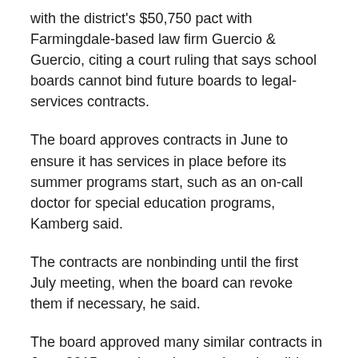with the district's $50,750 pact with Farmingdale-based law firm Guercio & Guercio, citing a court ruling that says school boards cannot bind future boards to legal-services contracts.
The board approves contracts in June to ensure it has services in place before its summer programs start, such as an on-call doctor for special education programs, Kamberg said.
The contracts are nonbinding until the first July meeting, when the board can revoke them if necessary, he said.
The board approved many similar contracts in June 2015, meeting minutes show, but did not vote on Guercio & Guercio's contract until July.
The crowd got angrier Monday when the board applied its